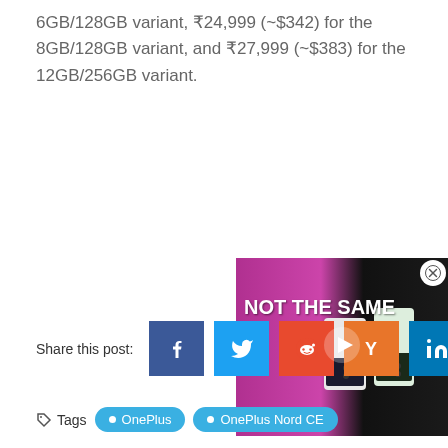6GB/128GB variant, ₹24,999 (~$342) for the 8GB/128GB variant, and ₹27,999 (~$383) for the 12GB/256GB variant.
[Figure (screenshot): Video player overlay showing a smartphone advertisement with text 'NOT THE SAME' and a play button, with a close (X) button in the top right corner.]
Share this post:
Tags  OnePlus  OnePlus Nord CE